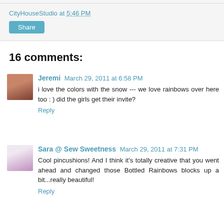CityHouseStudio at 5:46 PM
Share
16 comments:
Jeremi March 29, 2011 at 6:58 PM
i love the colors with the snow --- we love rainbows over here too : ) did the girls get their invite?
Reply
Sara @ Sew Sweetness March 29, 2011 at 7:31 PM
Cool pincushions! And I think it's totally creative that you went ahead and changed those Bottled Rainbows blocks up a bit...really beautiful!
Reply